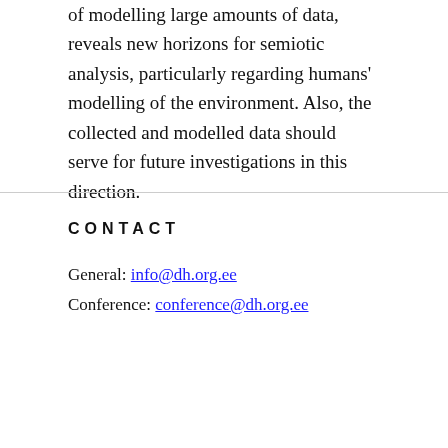of modelling large amounts of data, reveals new horizons for semiotic analysis, particularly regarding humans' modelling of the environment. Also, the collected and modelled data should serve for future investigations in this direction.
CONTACT
General: info@dh.org.ee
Conference: conference@dh.org.ee